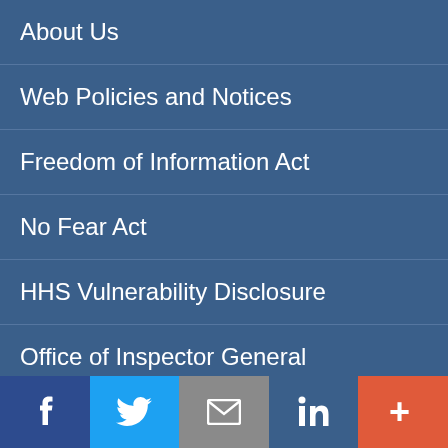About Us
Web Policies and Notices
Freedom of Information Act
No Fear Act
HHS Vulnerability Disclosure
Office of Inspector General
USA.gov
Subscribe
[Figure (infographic): Social media share bar with buttons: Facebook (dark blue), Twitter (light blue), Email (gray), LinkedIn (blue), More (orange-red)]